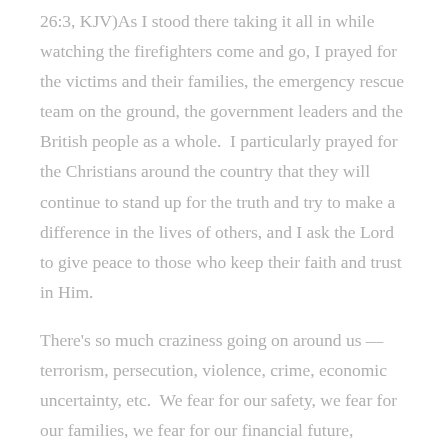26:3, KJV)As I stood there taking it all in while watching the firefighters come and go, I prayed for the victims and their families, the emergency rescue team on the ground, the government leaders and the British people as a whole.  I particularly prayed for the Christians around the country that they will continue to stand up for the truth and try to make a difference in the lives of others, and I ask the Lord to give peace to those who keep their faith and trust in Him.
There's so much craziness going on around us — terrorism, persecution, violence, crime, economic uncertainty, etc.  We fear for our safety, we fear for our families, we fear for our financial future,